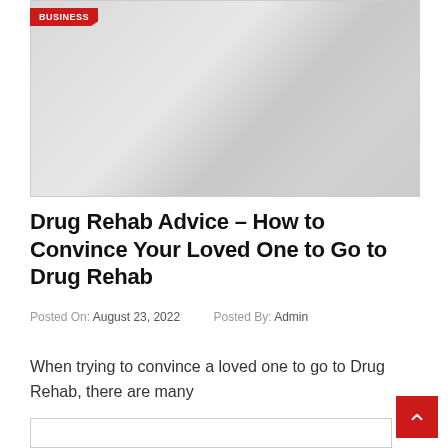[Figure (photo): Placeholder image with light gray gradient background]
Drug Rehab Advice – How to Convince Your Loved One to Go to Drug Rehab
Posted On: August 23, 2022   Posted By: Admin
When trying to convince a loved one to go to Drug Rehab, there are many